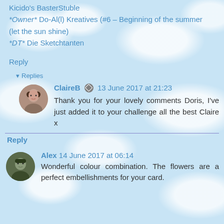Kicido's BasterStuble
*Owner* Do-Al(l) Kreatives (#6 – Beginning of the summer (let the sun shine)
*DT* Die Sketchtanten
Reply
▾ Replies
ClaireB  13 June 2017 at 21:23
Thank you for your lovely comments Doris, I've just added it to your challenge all the best Claire x
Reply
Alex  14 June 2017 at 06:14
Wonderful colour combination. The flowers are a perfect embellishments for your card.